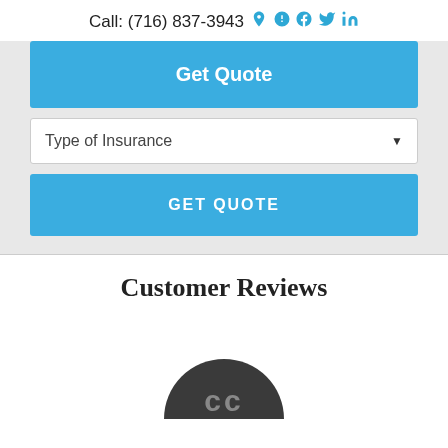Call: (716) 837-3943
Get Quote
Type of Insurance
GET QUOTE
Customer Reviews
[Figure (illustration): Dark circular avatar icon with initials, partially visible at bottom of page]